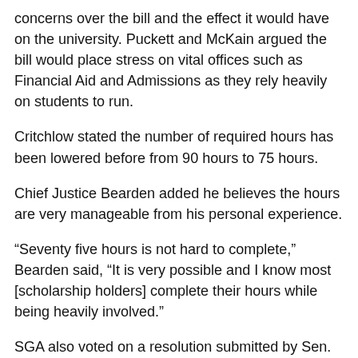concerns over the bill and the effect it would have on the university. Puckett and McKain argued the bill would place stress on vital offices such as Financial Aid and Admissions as they rely heavily on students to run.
Critchlow stated the number of required hours has been lowered before from 90 hours to 75 hours.
Chief Justice Bearden added he believes the hours are very manageable from his personal experience.
“Seventy five hours is not hard to complete,” Bearden said, “It is very possible and I know most [scholarship holders] complete their hours while being heavily involved.”
SGA also voted on a resolution submitted by Sen. Dylan Kellogg about the creation of a crosswalk near the Sundquist and Maynard buildings. After a few